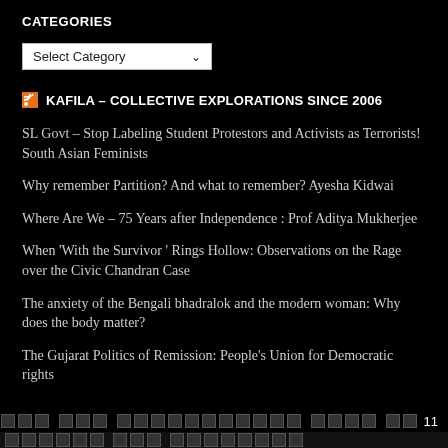CATEGORIES
[Figure (screenshot): Dropdown select box labeled 'Select Category' with a chevron/arrow on the right]
KAFILA – COLLECTIVE EXPLORATIONS SINCE 2006
SL Govt – Stop Labeling Student Protestors and Activists as Terrorists! South Asian Feminists
Why remember Partition? And what to remember? Ayesha Kidwai
Where Are We – 75 Years after Independence : Prof Aditya Mukherjee
When 'With the Survivor ' Rings Hollow: Observations on the Rage over the Civic Chandran Case
The anxiety of the Bengali bhadralok and the modern woman: Why does the body matter?
The Gujarat Politics of Remission: People's Union for Democratic rights
11